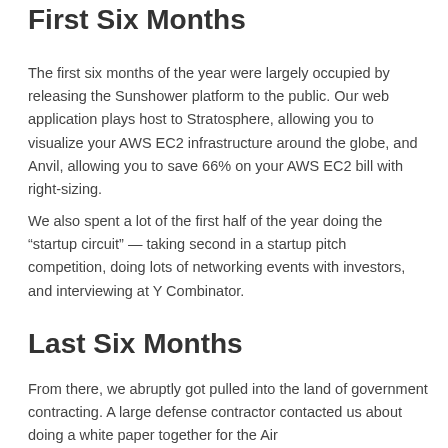First Six Months
The first six months of the year were largely occupied by releasing the Sunshower platform to the public. Our web application plays host to Stratosphere, allowing you to visualize your AWS EC2 infrastructure around the globe, and Anvil, allowing you to save 66% on your AWS EC2 bill with right-sizing.
We also spent a lot of the first half of the year doing the “startup circuit” — taking second in a startup pitch competition, doing lots of networking events with investors, and interviewing at Y Combinator.
Last Six Months
From there, we abruptly got pulled into the land of government contracting. A large defense contractor contacted us about doing a white paper together for the Air